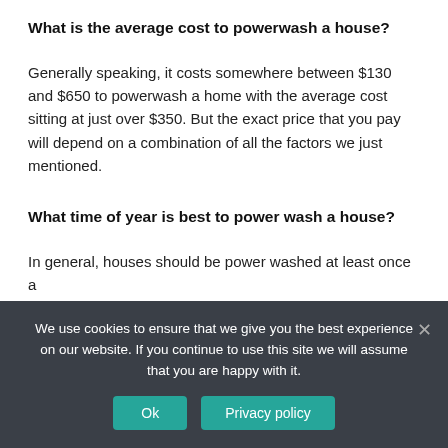What is the average cost to powerwash a house?
Generally speaking, it costs somewhere between $130 and $650 to powerwash a home with the average cost sitting at just over $350. But the exact price that you pay will depend on a combination of all the factors we just mentioned.
What time of year is best to power wash a house?
In general, houses should be power washed at least once a
We use cookies to ensure that we give you the best experience on our website. If you continue to use this site we will assume that you are happy with it.